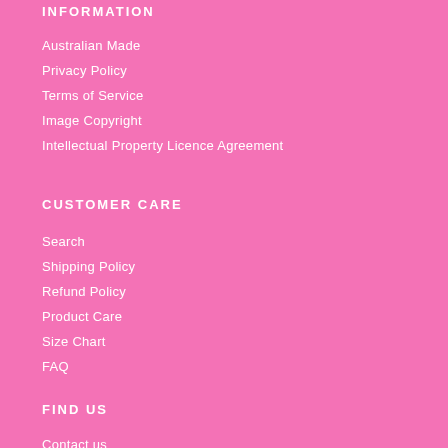INFORMATION
Australian Made
Privacy Policy
Terms of Service
Image Copyright
Intellectual Property Licence Agreement
CUSTOMER CARE
Search
Shipping Policy
Refund Policy
Product Care
Size Chart
FAQ
FIND US
Contact us